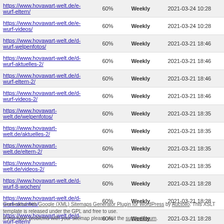| URL | Priority | Change Freq | LastMod |
| --- | --- | --- | --- |
| https://www.hovawart-welt.de/e-wurf-eltern/ | 60% | Weekly | 2021-03-24 10:28 |
| https://www.hovawart-welt.de/e-wurf-videos/ | 60% | Weekly | 2021-03-24 10:28 |
| https://www.hovawart-welt.de/d-wurf-welpenfotos/ | 60% | Weekly | 2021-03-21 18:46 |
| https://www.hovawart-welt.de/d-wurf-aktuelles-2/ | 60% | Weekly | 2021-03-21 18:46 |
| https://www.hovawart-welt.de/d-wurf-eltern-2/ | 60% | Weekly | 2021-03-21 18:46 |
| https://www.hovawart-welt.de/d-wurf-videos-2/ | 60% | Weekly | 2021-03-21 18:46 |
| https://www.hovawart-welt.de/welpenfotos/ | 60% | Weekly | 2021-03-21 18:35 |
| https://www.hovawart-welt.de/aktuelles-2/ | 60% | Weekly | 2021-03-21 18:35 |
| https://www.hovawart-welt.de/eltern-2/ | 60% | Weekly | 2021-03-21 18:35 |
| https://www.hovawart-welt.de/videos-2/ | 60% | Weekly | 2021-03-21 18:35 |
| https://www.hovawart-welt.de/d-wurf-8-wochen/ | 60% | Weekly | 2021-03-21 18:28 |
| https://www.hovawart-welt.de/d-wurf-aktuelles/ | 60% | Weekly | 2021-03-21 18:28 |
| https://www.hovawart-welt.de/d-wurf-eltern/ | 60% | Weekly | 2021-03-21 18:28 |
| https://www.hovawart-welt.de/d-wurf-videos/ | 60% | Weekly | 2021-03-21 18:28 |
Generated with Google (XML) Sitemaps Generator Plugin for WordPress by Auctollo. This XSLT template is released under the GPL and free to use.
If you have problems with your sitemap please visit the support forum.